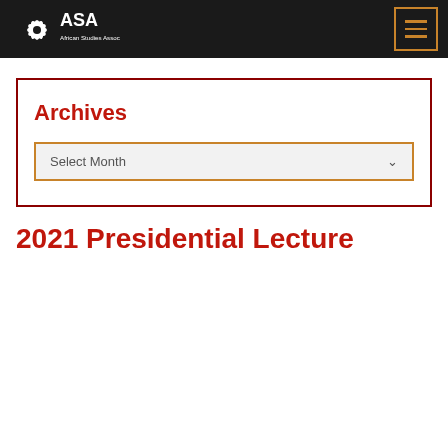African Studies Association
Archives
Select Month
2021 Presidential Lecture